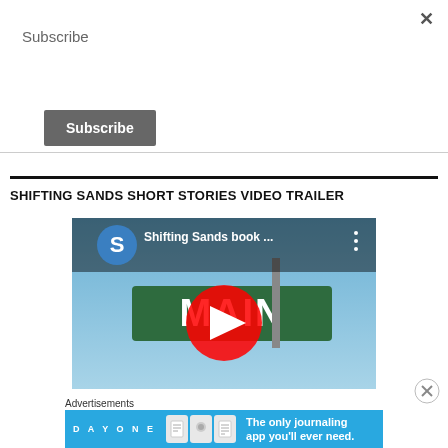×
Subscribe
Subscribe
SHIFTING SANDS SHORT STORIES VIDEO TRAILER
[Figure (screenshot): YouTube video thumbnail showing a street sign reading MAIN with a blue circle with letter S, title 'Shifting Sands book ...' and a red YouTube play button overlay]
Advertisements
[Figure (screenshot): Day One journaling app advertisement banner: 'The only journaling app you'll ever need.']